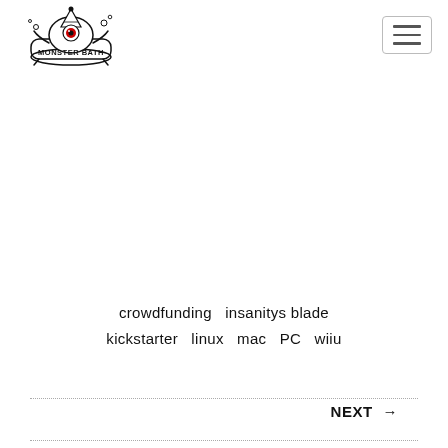[Figure (logo): Monster Bath logo: black monster character in a bathtub with 'Monster Bath' text]
crowdfunding  insanitys blade  kickstarter  linux  mac  PC  wiiu
NEXT →